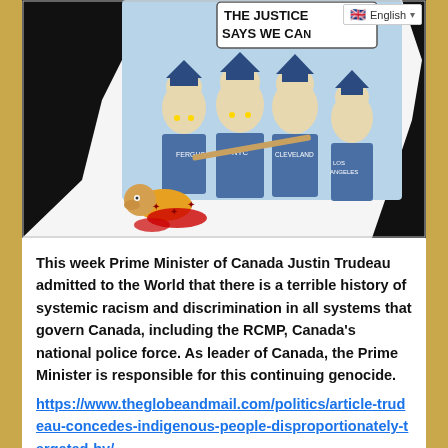[Figure (illustration): Political cartoon showing four police officers labeled 'Ferguson', 'NYC', 'Cleveland', 'Los Angeles' holding batons, with a speech bubble reading 'THE JUSTICE SAYS WE CA[N]', and a person on the ground beneath them. A language selector showing the UK flag and 'English' is overlaid in the top right.]
This week Prime Minister of Canada Justin Trudeau admitted to the World that there is a terrible history of systemic racism and discrimination in all systems that govern Canada, including the RCMP, Canada's national police force. As leader of Canada, the Prime Minister is responsible for this continuing genocide. https://www.theglobeandmail.com/politics/article-trudeau-concedes-indigenous-people-disproportionately-targeted-by/